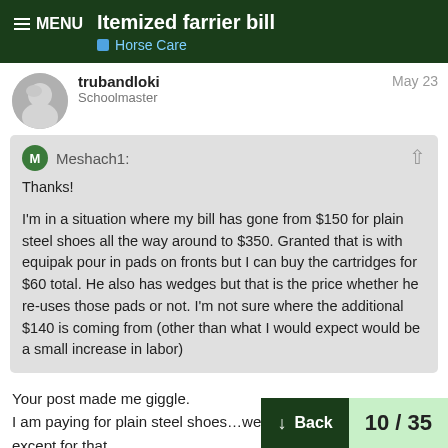Itemized farrier bill | Horse Care
trubandloki
Schoolmaster
May 23
Meshach1:

Thanks!

I'm in a situation where my bill has gone from $150 for plain steel shoes all the way around to $350. Granted that is with equipak pour in pads on fronts but I can buy the cartridges for $60 total. He also has wedges but that is the price whether he re-uses those pads or not. I'm not sure where the additional $140 is coming from (other than what I would expect would be a small increase in labor)
Your post made me giggle.
I am paying for plain steel shoes…well except
except for that.